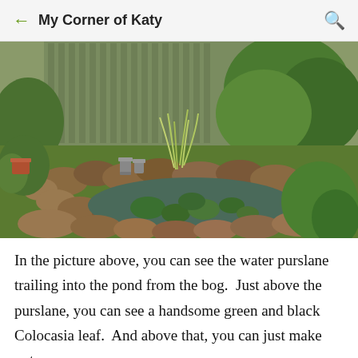My Corner of Katy
[Figure (photo): A backyard garden pond surrounded by rounded rocks, with water lily pads floating on the surface, ornamental grasses and tropical plants growing around the edges, lanterns on the rocks, and a wooden fence in the background.]
In the picture above, you can see the water purslane trailing into the pond from the bog.  Just above the purslane, you can see a handsome green and black Colocasia leaf.  And above that, you can just make out